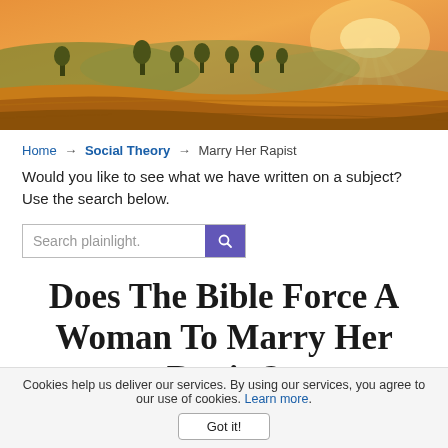[Figure (photo): Scenic landscape header image showing golden wheat fields at sunset with sun rays breaking through clouds over hills and trees]
Home → Social Theory → Marry Her Rapist
Would you like to see what we have written on a subject? Use the search below.
[Figure (other): Search input box with placeholder text 'Search plainlight.' and a purple search button]
Does The Bible Force A Woman To Marry Her Rapist?
Cookies help us deliver our services. By using our services, you agree to our use of cookies. Learn more.